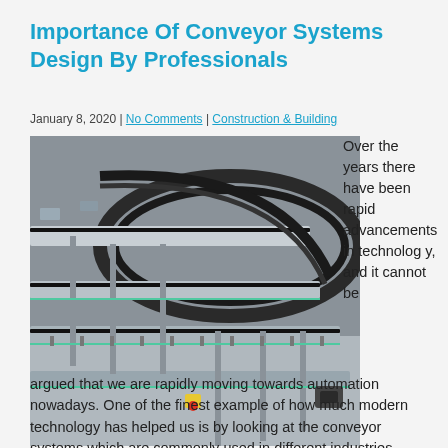Importance Of Conveyor Systems Design By Professionals
January 8, 2020 | No Comments | Construction & Building
[Figure (photo): Photograph of an industrial conveyor system showing curved belt conveyors with metal frames in a factory setting]
Over the years there have been rapid advancements in technology, and it cannot be argued that we are rapidly moving towards automation nowadays. One of the finest example of how much modern technology has helped us is by looking at the conveyor systems which are commonly used in different industries nowadays. It is